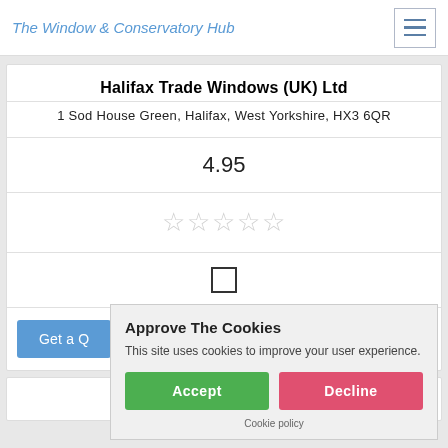The Window & Conservatory Hub
Halifax Trade Windows (UK) Ltd
1 Sod House Green, Halifax, West Yorkshire, HX3 6QR
4.95
[Figure (other): Five star rating icons (empty/outline stars) representing a rating display]
[Figure (other): Checkbox icon (empty square checkbox)]
Get a Quote
Approve The Cookies
This site uses cookies to improve your user experience.
Accept  Decline
Cookie policy
Beecroft Joinery